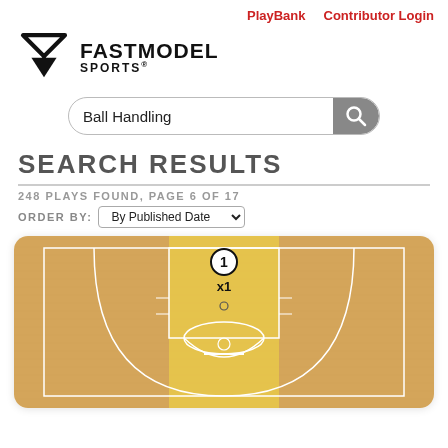PlayBank   Contributor Login
[Figure (logo): FastModel Sports logo with downward-pointing triangle/arrow icon and text FASTMODEL SPORTS]
Ball Handling (search box)
SEARCH RESULTS
248 PLAYS FOUND, PAGE 6 OF 17
ORDER BY: By Published Date
[Figure (illustration): Basketball court diagram showing a half-court view with a yellow highlighted lane/paint area, player marker circle labeled 1, x1 label below, and standard court lines including three-point arc and key]